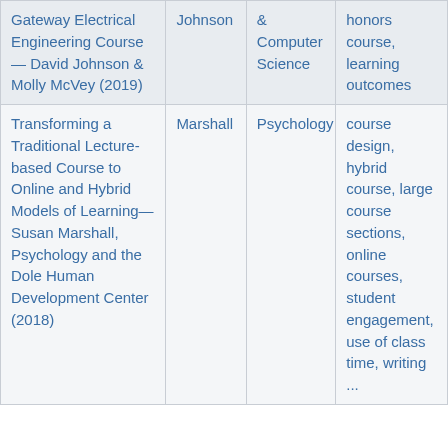| Gateway Electrical Engineering Course — David Johnson & Molly McVey (2019) | Johnson | & Computer Science | honors course, learning outcomes |
| Transforming a Traditional Lecture-based Course to Online and Hybrid Models of Learning—Susan Marshall, Psychology and the Dole Human Development Center (2018) | Marshall | Psychology | course design, hybrid course, large course sections, online courses, student engagement, use of class time, writing ... |